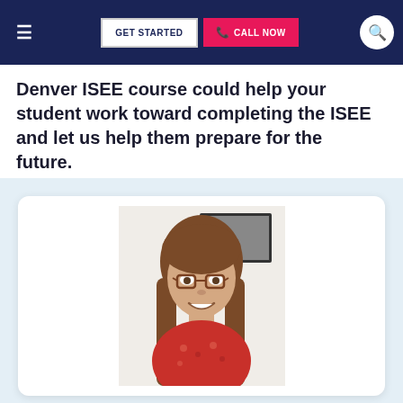GET STARTED | CALL NOW
Denver ISEE course could help your student work toward completing the ISEE and let us help them prepare for the future.
[Figure (photo): Portrait photo of a smiling woman with long brown hair and glasses, wearing a red floral top, seated in front of a white wall with a framed picture partially visible.]